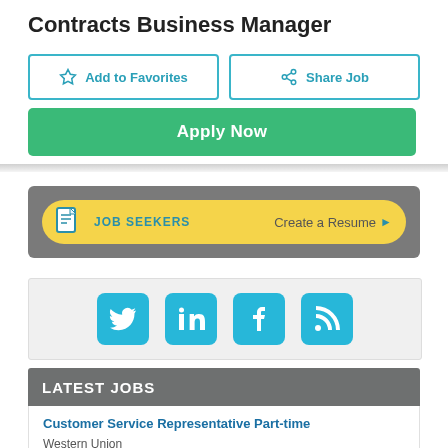Contracts Business Manager
Add to Favorites
Share Job
Apply Now
[Figure (infographic): Job Seekers banner: yellow pill-shaped bar with document icon, 'JOB SEEKERS' label, 'Create a Resume' link with arrow, on a gray background]
[Figure (infographic): Social media icons: Twitter, LinkedIn, Facebook, RSS feed — all cyan/blue rounded square icons on light gray background]
LATEST JOBS
Customer Service Representative Part-time
Western Union
Singapore